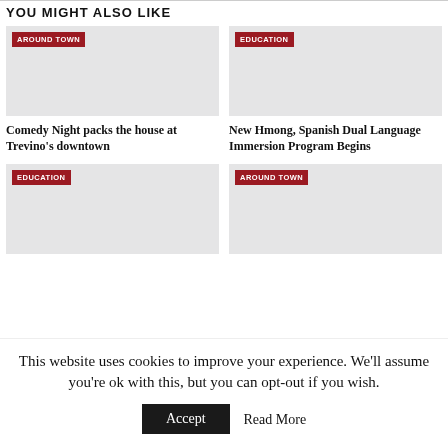YOU MIGHT ALSO LIKE
[Figure (photo): Gray placeholder image for article with AROUND TOWN badge]
Comedy Night packs the house at Trevino's downtown
[Figure (photo): Gray placeholder image for article with EDUCATION badge]
New Hmong, Spanish Dual Language Immersion Program Begins
[Figure (photo): Gray placeholder image for article with EDUCATION badge]
[Figure (photo): Gray placeholder image for article with AROUND TOWN badge]
This website uses cookies to improve your experience. We'll assume you're ok with this, but you can opt-out if you wish.
Accept
Read More